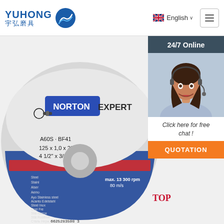[Figure (logo): YUHONG 宇弘磨具 logo with blue wave circle icon]
English ∨
[Figure (photo): Norton Expert cutting disc (A60S-BF41, 125x1.0x22.23, 4 1/2 x 3/64 x 7/8) product image]
24/7 Online
[Figure (photo): Customer service agent woman with headset smiling]
Click here for free chat !
QUOTATION